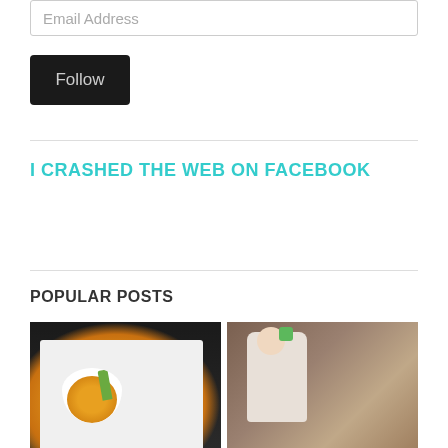Email Address
Follow
I CRASHED THE WEB ON FACEBOOK
POPULAR POSTS
[Figure (photo): Photo of a white bowl of orange cheese dip with a celery stick, on a white plate, with chips, on a dark background]
[Figure (photo): Photo of a baby or toddler in a white knit sweater holding a green item, standing at a kitchen counter with appliances in the background]